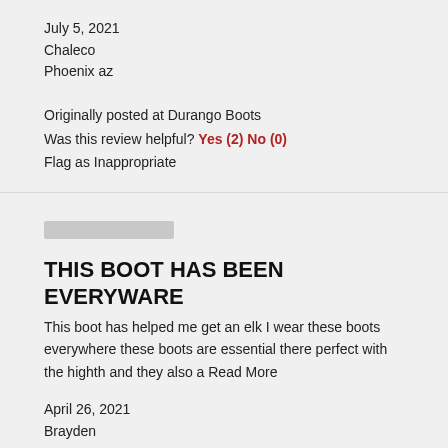July 5, 2021
Chaleco
Phoenix az
Originally posted at Durango Boots
Was this review helpful? Yes (2) No (0)
Flag as Inappropriate
[Figure (other): Star rating bar (gray/blurred rating graphic)]
THIS BOOT HAS BEEN EVERYWARE
This boot has helped me get an elk I wear these boots everywhere these boots are essential there perfect with the highth and they also a Read More
April 26, 2021
Brayden